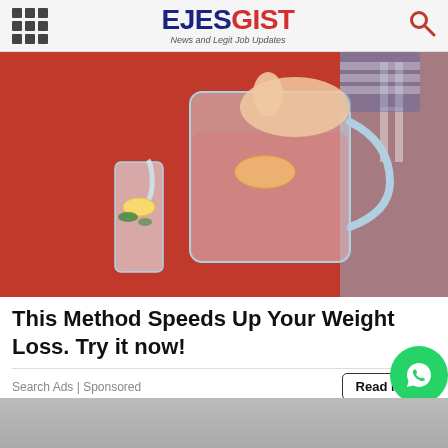EJESGIST News and Legit Job Updates
[Figure (photo): Person in red sweater pouring water with lemon slices from a glass pitcher into a tall glass with lemon and mint garnish]
This Method Speeds Up Your Weight Loss. Try it now!
Search Ads | Sponsored
Read More